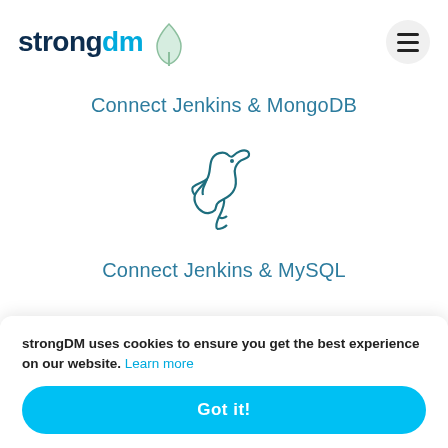[Figure (logo): strongDM logo with 'strong' in dark navy and 'dm' in cyan/blue]
[Figure (illustration): MongoDB leaf/diamond icon in light green outline]
[Figure (other): Hamburger menu icon (three horizontal lines) in a light gray circle]
Connect Jenkins & MongoDB
[Figure (illustration): MySQL dolphin logo in teal/dark cyan outline]
Connect Jenkins & MySQL
strongDM uses cookies to ensure you get the best experience on our website. Learn more
Got it!